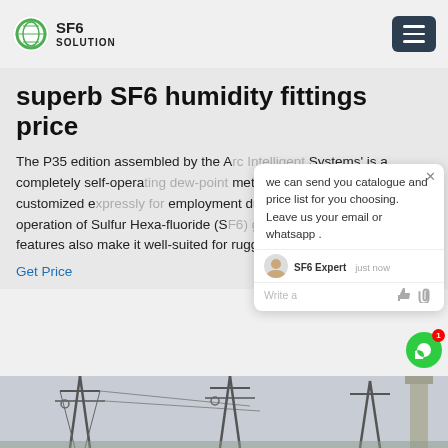SF6 SOLUTION
superb SF6 humidity fittings price
The P35 edition assembled by the A[...] Systems' is a completely self-opera[...] meter which has been customized e[...] employment during the assemb[...] and operation of Sulfur Hexa-fluoride (S[...] insulated switch-gear. Its features also make it well-suited for rugged on-site applications.
Get Price
[Figure (screenshot): Chat popup overlay with message: 'we can send you catalogue and price list for you choosing. Leave us your email or whatsapp .' Agent name 'SF6 Expert', time 'just now', with thumbs up and paperclip icons, and a green chat bubble button with notification badge '1'.]
[Figure (photo): Bottom portion showing electrical substation infrastructure with towers and equipment against a light background.]